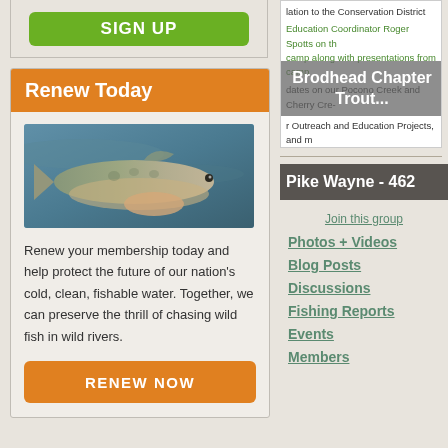[Figure (screenshot): Green SIGN UP button at top of left column]
Renew Today
[Figure (photo): Photo of a hand holding a trout fish in water]
Renew your membership today and help protect the future of our nation's cold, clean, fishable water. Together, we can preserve the thrill of chasing wild fish in wild rivers.
RENEW NOW
[Figure (screenshot): Brodhead Chapter Trout newsletter snippet with text about Conservation District, Education Coordinator Roger Spotts, Pocono Creek and Cherry Creek projects, Outreach and Education Projects]
Pike Wayne - 462
Join this group
Photos + Videos
Blog Posts
Discussions
Fishing Reports
Events
Members